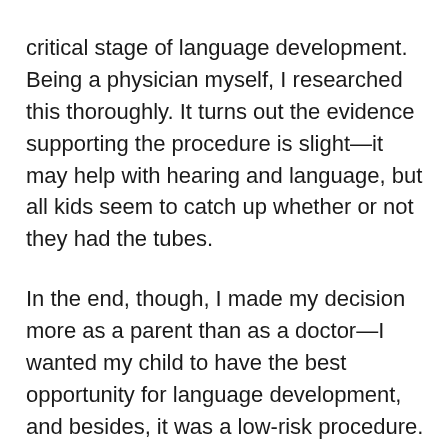critical stage of language development. Being a physician myself, I researched this thoroughly. It turns out the evidence supporting the procedure is slight—it may help with hearing and language, but all kids seem to catch up whether or not they had the tubes.
In the end, though, I made my decision more as a parent than as a doctor—I wanted my child to have the best opportunity for language development, and besides, it was a low-risk procedure.
Two weeks later I scooped my sleeping boy out of bed before dawn, buckled him into his car seat, and hailed a taxi on the darkened city streets. At the hospital, my son snuggled in my